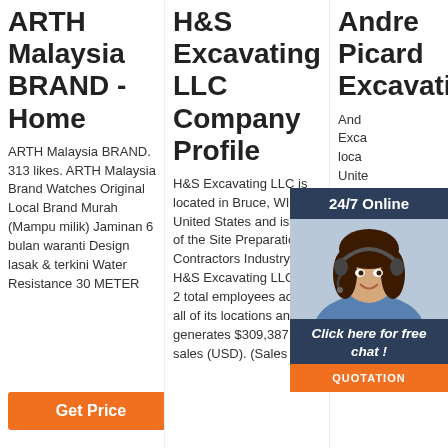ARTH Malaysia BRAND - Home
ARTH Malaysia BRAND. 313 likes. ARTH Malaysia Brand Watches Original Local Brand Murah (Mampu milik) Jaminan 6 bulan waranti Design lasak & terkini Water Resistance 30 METER
Get Price
H&S Excavating LLC Company Profile
H&S Excavating LLC is located in Bruce, WI, United States and is part of the Site Preparation Contractors Industry. H&S Excavating LLC has 2 total employees across all of its locations and generates $309,387 in sales (USD). (Sales
Andre Picard Excavating Inc Company Profile
Andre Picard Excavating Inc is located in United States and is part of the Site Preparation Contractors Industry. Andre Picard Excavating Inc has 7 total employees across
[Figure (photo): Chat widget overlay showing a woman with headset, dark blue background with 24/7 Online text, Click here for free chat! text, and orange QUOTATION button]